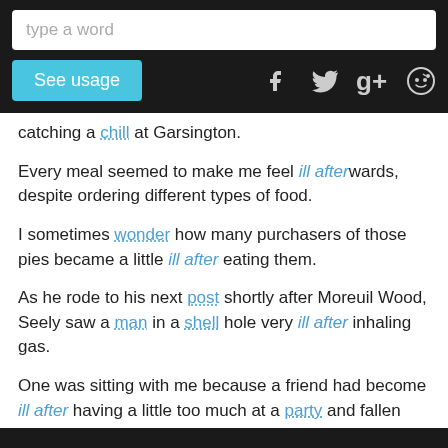type a word | See usage | [social icons]
catching a chill at Garsington.
Every meal seemed to make me feel ill afterwards, despite ordering different types of food.
I sometimes wonder how many purchasers of those pies became a little ill after eating them.
As he rode to his next post shortly after Moreuil Wood, Seely saw a man in a shell hole very ill after inhaling gas.
One was sitting with me because a friend had become ill after having a little too much at a party and fallen asleep.
Personally i do hope the 3d craze is over, at least till they get it so it doesn't make me feel ill after 20 minutes.
In 1941 Eltinge fell ill after a performance and was taken